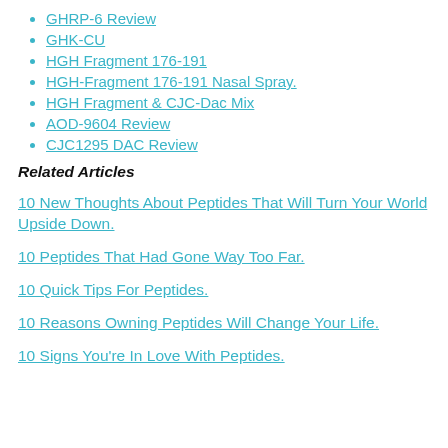GHRP-6 Review
GHK-CU
HGH Fragment 176-191
HGH-Fragment 176-191 Nasal Spray.
HGH Fragment & CJC-Dac Mix
AOD-9604 Review
CJC1295 DAC Review
Related Articles
10 New Thoughts About Peptides That Will Turn Your World Upside Down.
10 Peptides That Had Gone Way Too Far.
10 Quick Tips For Peptides.
10 Reasons Owning Peptides Will Change Your Life.
10 Signs You're In Love With Peptides.